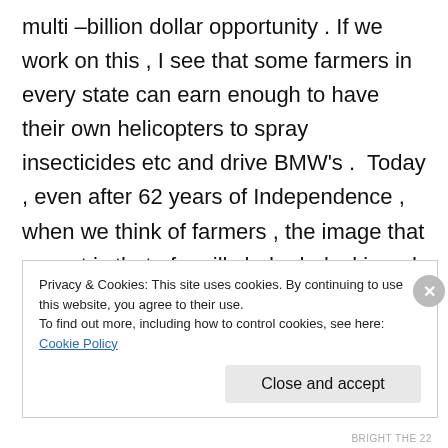multi –billion dollar opportunity . If we work on this , I see that some farmers in every state can earn enough to have their own helicopters to spray insecticides etc and drive BMW's .  Today , even after 62 years of Independence , when we think of farmers , the image that we get is that of an ill clad , dark skinned , white bearded old age person looking at the sky . We must live up to the fact that ' Farmers of the nation are the fathers of the nation' and give top most priority
Privacy & Cookies: This site uses cookies. By continuing to use this website, you agree to their use.
To find out more, including how to control cookies, see here: Cookie Policy
Close and accept